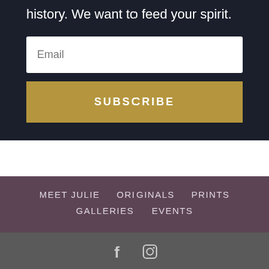history. We want to feed your spirit.
Email
SUBSCRIBE
MEET JULIE    ORIGINALS    PRINTS    GALLERIES    EVENTS
[Figure (other): Social media icons: Facebook (f) and Instagram (camera)]
© 2020-22 Julie Rogers Art. All Rights Reserved | Website Proudly Designed by PLAITMarketing